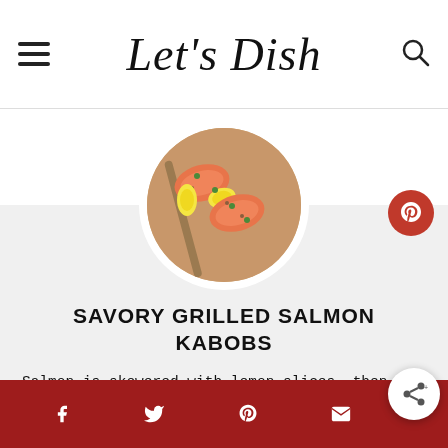Let's Dish
[Figure (photo): Circular photo of grilled salmon kabobs with lemon slices and herbs on skewers]
SAVORY GRILLED SALMON KABOBS
Salmon is skewered with lemon slices, then coated in a savory spice mix and grilled to perfection.
Social share icons: Facebook, Twitter, Pinterest, Email, Share